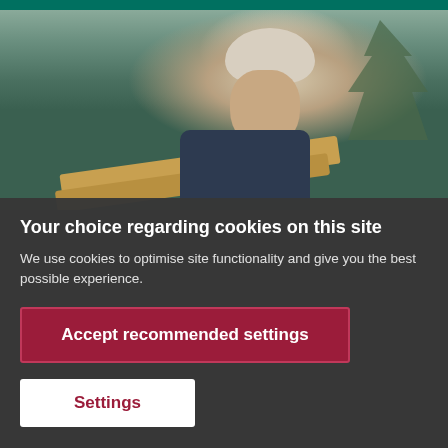[Figure (photo): A smiling male construction worker wearing a white hard hat, carrying lumber planks, with trees in the background.]
Your choice regarding cookies on this site
We use cookies to optimise site functionality and give you the best possible experience.
Accept recommended settings
Settings